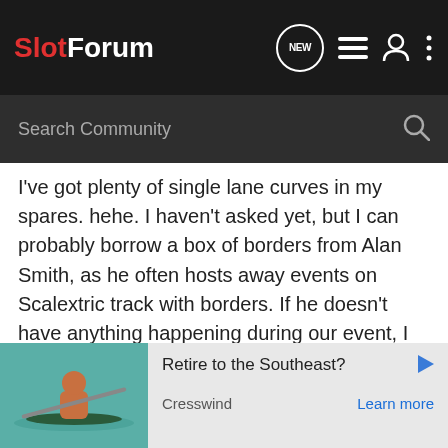SlotForum
I've got plenty of single lane curves in my spares. hehe. I haven't asked yet, but I can probably borrow a box of borders from Alan Smith, as he often hosts away events on Scalextric track with borders. If he doesn't have anything happening during our event, I should be good for borders.
Flux Productions - 3D Printed products and OldSlotRacer DIY routed wood track tools!
[Figure (infographic): Advertisement for Cresswind: Retire to the Southeast? showing a person kayaking on water, with Learn more call to action]